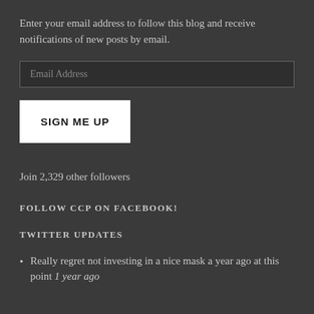Enter your email address to follow this blog and receive notifications of new posts by email.
Email Address
SIGN ME UP
Join 2,329 other followers
FOLLOW CCP ON FACEBOOK!
TWITTER UPDATES
Really regret not investing in a nice mask a year ago at this point 1 year ago